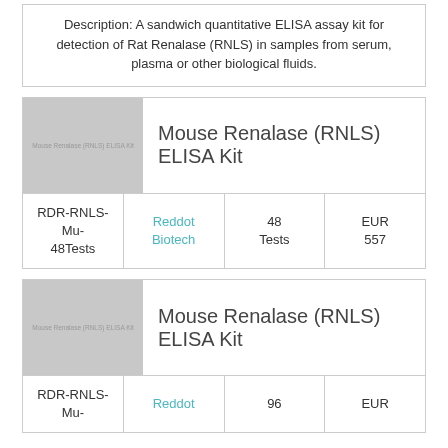Description: A sandwich quantitative ELISA assay kit for detection of Rat Renalase (RNLS) in samples from serum, plasma or other biological fluids.
Mouse Renalase (RNLS) ELISA Kit
|  | Supplier | Quantity | Price |
| --- | --- | --- | --- |
| RDR-RNLS-Mu-48Tests | Reddot Biotech | 48 Tests | EUR 557 |
Mouse Renalase (RNLS) ELISA Kit
|  | Supplier | Quantity | Price |
| --- | --- | --- | --- |
| RDR-RNLS-Mu- | Reddot | 96 | EUR |